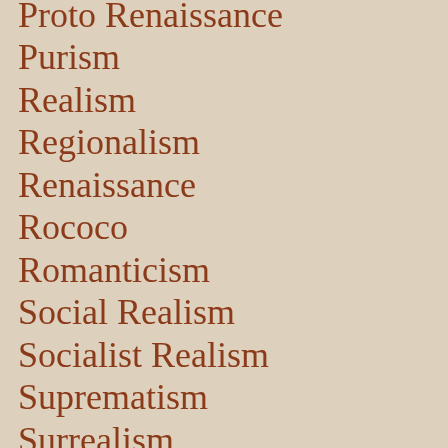Proto Renaissance
Purism
Realism
Regionalism
Renaissance
Rococo
Romanticism
Social Realism
Socialist Realism
Suprematism
Surrealism
Symbolism
Synthetic Cubism